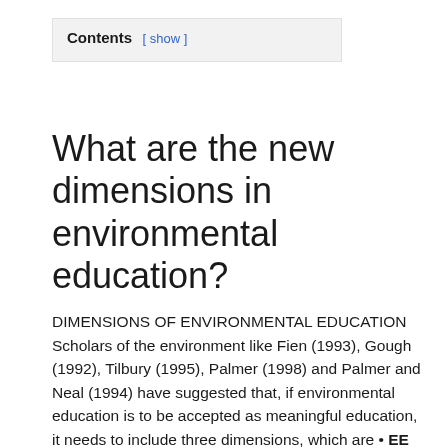Contents [ show ]
What are the new dimensions in environmental education?
DIMENSIONS OF ENVIRONMENTAL EDUCATION Scholars of the environment like Fien (1993), Gough (1992), Tilbury (1995), Palmer (1998) and Palmer and Neal (1994) have suggested that, if environmental education is to be accepted as meaningful education, it needs to include three dimensions, which are • EE as education about …